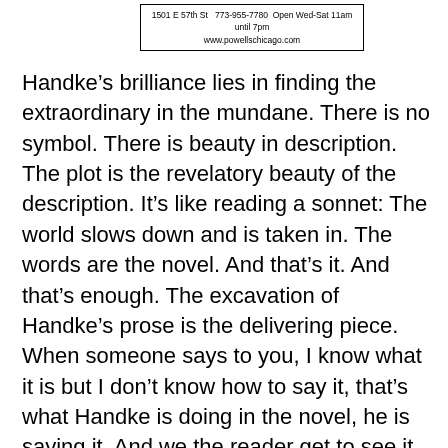1501 E 57th St   773-955-7780  Open Wed-Sat 11am until 7pm
www.powellschicago.com
Handke’s brilliance lies in finding the extraordinary in the mundane. There is no symbol. There is beauty in description. The plot is the revelatory beauty of the description. It’s like reading a sonnet: The world slows down and is taken in. The words are the novel. And that’s it. And that’s enough. The excavation of Handke’s prose is the delivering piece. When someone says to you, I know what it is but I don’t know how to say it, that’s what Handke is doing in the novel, he is saying it. And we the reader get to see it.